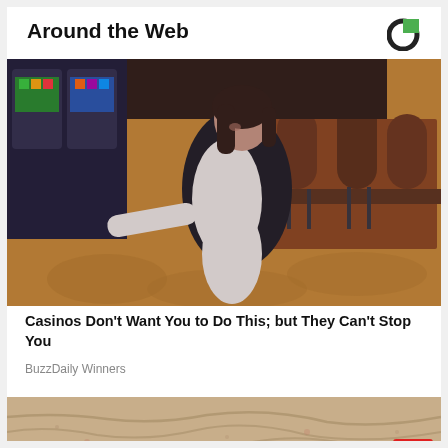Around the Web
[Figure (photo): A woman in a black blazer and white outfit sitting in a casino, with slot machines and chairs visible in the background.]
Casinos Don't Want You to Do This; but They Can't Stop You
BuzzDaily Winners
[Figure (photo): Close-up image of aged or wrinkled skin texture, partially visible at the bottom of the page.]